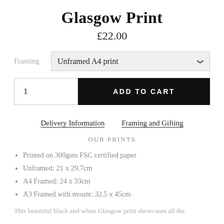Glasgow Print
£22.00
Framing  Unframed A4 print
1  ADD TO CART
Delivery Information   Framing and Gifting
OUR PRINTS
Printed on 300gsm FSC certified paper
Unframed: 21 x 29.7cm
A4 Framed: 24 x 33cm
A3 Framed with mount: 32.5 x 45cm
This beautiful black and white Glasgow print showcases all the